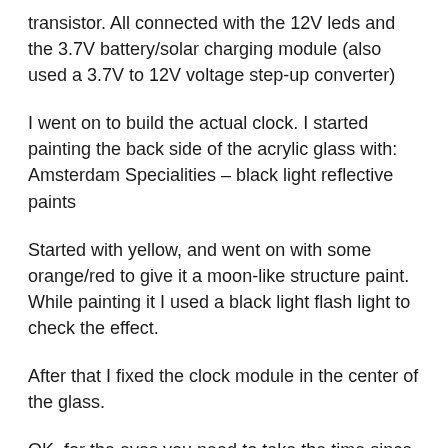transistor. All connected with the 12V leds and the 3.7V battery/solar charging module (also used a 3.7V to 12V voltage step-up converter)
I went on to build the actual clock. I started painting the back side of the acrylic glass with:
Amsterdam Specialities – black light reflective paints
Started with yellow, and went on with some orange/red to give it a moon-like structure paint. While painting it I used a black light flash light to check the effect.
After that I fixed the clock module in the center of the glass.
OK, for the eyes you need to take the time since they have to be nice.
First I printed something from the internet, in the style I wanted. Then I cut out the form from the bottom of a plastic